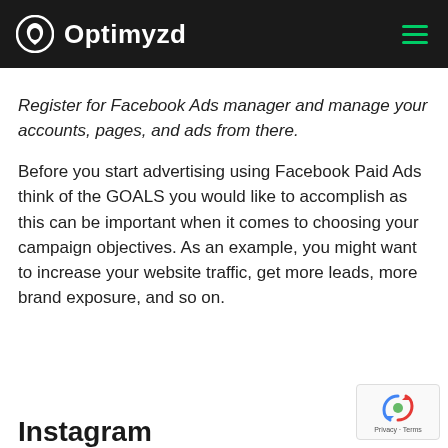Optimyzd
Register for Facebook Ads manager and manage your accounts, pages, and ads from there.
Before you start advertising using Facebook Paid Ads think of the GOALS you would like to accomplish as this can be important when it comes to choosing your campaign objectives. As an example, you might want to increase your website traffic, get more leads, more brand exposure, and so on.
Instagram